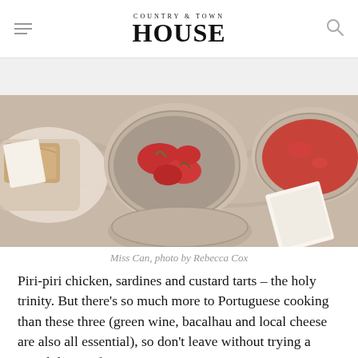COUNTRY & TOWN HOUSE
[Figure (photo): Overhead view of food dishes on a marble surface including bowls with tomatoes and sauce, bread, and a napkin. Photo credit: Miss Can, photo by Rebecca Cox]
Miss Can, photo by Rebecca Cox
Piri-piri chicken, sardines and custard tarts – the holy trinity. But there's so much more to Portuguese cooking than these three (green wine, bacalhau and local cheese are also all essential), so don't leave without trying a pastel de nata from